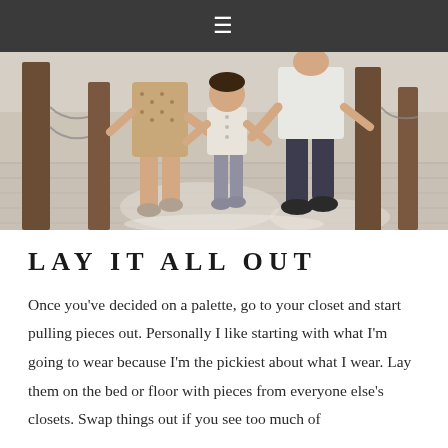≡
[Figure (photo): A family walking together outdoors — a woman in a patterned dress, a toddler boy in a white shirt and gray pants, and a man in dark pants and white shirt, all holding hands on a paved surface with wooden posts and chain fencing in the background.]
LAY IT ALL OUT
Once you've decided on a palette, go to your closet and start pulling pieces out. Personally I like starting with what I'm going to wear because I'm the pickiest about what I wear. Lay them on the bed or floor with pieces from everyone else's closets. Swap things out if you see too much of